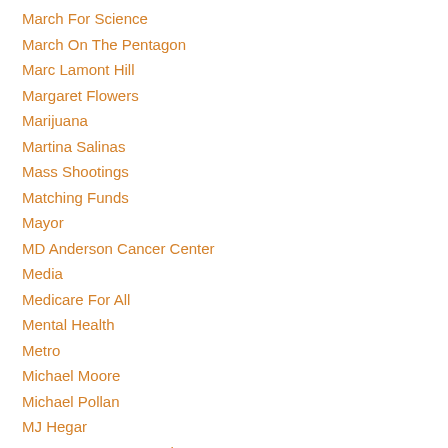March For Science
March On The Pentagon
Marc Lamont Hill
Margaret Flowers
Marijuana
Martina Salinas
Mass Shootings
Matching Funds
Mayor
MD Anderson Cancer Center
Media
Medicare For All
Mental Health
Metro
Michael Moore
Michael Pollan
MJ Hegar
Movement For A People's Party
Mudslinging
Music